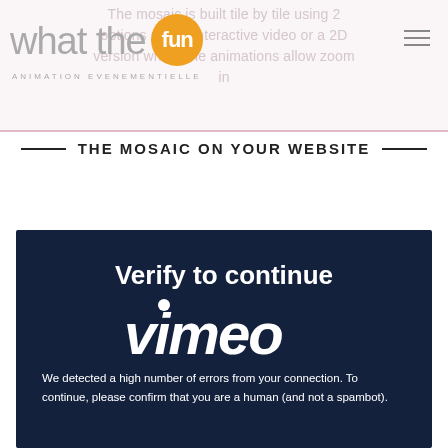The mosaic is built tile by tile using 2 options : a 3D interactive video or a 2D version where the animations allow zoom in
[Figure (logo): What the Fun logo with orange circular bubble containing 'fun' text, and tagline 'ANIMATION EVENEMENTIELLE']
THE MOSAIC ON YOUR WEBSITE
[Figure (screenshot): Vimeo 'Verify to continue' page on dark navy background. Shows Vimeo logo watermark. Text reads: 'We detected a high number of errors from your connection. To continue, please confirm that you are a human (and not a spambot).']